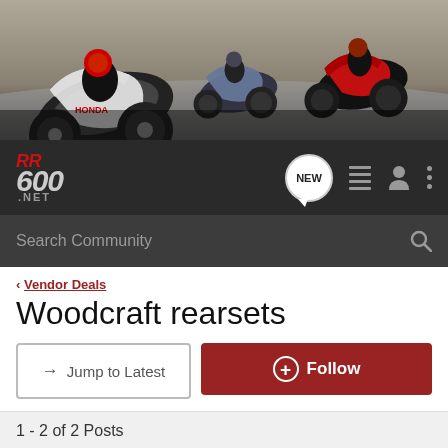[Figure (photo): Racing motorcycles on a track, banner image for CBR 600RR.net forum]
CBR 600RR.NET - Navigation bar with logo, NEW posts, list, user, and menu icons
Search Community
< Vendor Deals
Woodcraft rearsets
→ Jump to Latest
+ Follow
1 - 2 of 2 Posts
biohazardcycles · Registered
Joined Jul 5, 2007 · 842 Posts